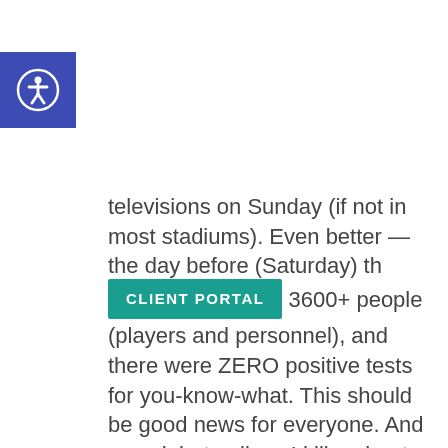[Figure (illustration): Accessibility icon button — blue/indigo square with a white circular person/accessibility symbol]
televisions on Sunday (if not in most stadiums). Even better — the day before (Saturday) th[CLIENT PORTAL overlay] 3600+ people (players and personnel), and there were ZERO positive tests for you-know-what. This should be good news for everyone. And yes, debate all you'd like about testing regimes, etc. — I'm here just grabbing the good news where it can be found.
Second, on a more taxy note, estimated tax payments due September 15th. If